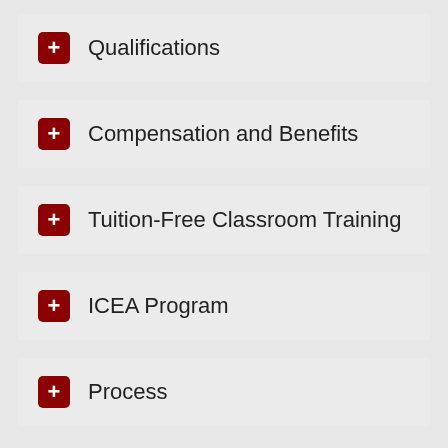Qualifications
Compensation and Benefits
Tuition-Free Classroom Training
ICEA Program
Process